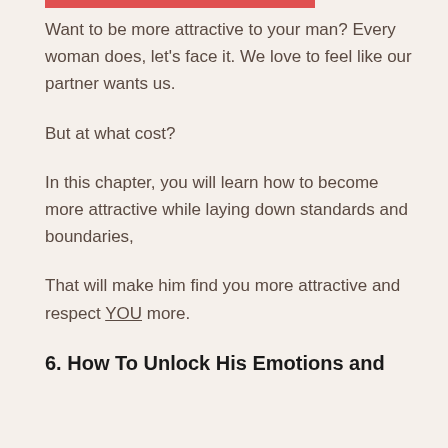Want to be more attractive to your man? Every woman does, let’s face it. We love to feel like our partner wants us.
But at what cost?
In this chapter, you will learn how to become more attractive while laying down standards and boundaries,
That will make him find you more attractive and respect YOU more.
6. How To Unlock His Emotions and